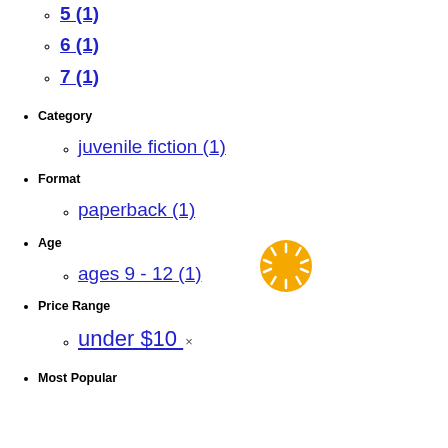5 (1)
6 (1)
7 (1)
Category
juvenile fiction (1)
Format
paperback (1)
Age
ages 9 - 12 (1)
Price Range
under $10 ×
Most Popular